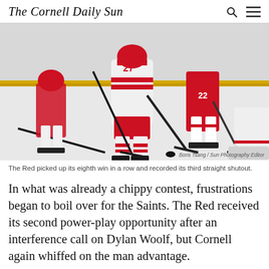The Cornell Daily Sun
[Figure (photo): Hockey players on ice rink — Cornell player in white jersey #27 battles against Saint Lawrence players in red jerseys #22, taken during a college hockey game. Players' legs and hockey sticks visible with a puck on the ice.]
Boris Tsang / Sun Photography Editor
The Red picked up its eighth win in a row and recorded its third straight shutout.
In what was already a chippy contest, frustrations began to boil over for the Saints. The Red received its second power-play opportunity after an interference call on Dylan Woolf, but Cornell again whiffed on the man advantage.